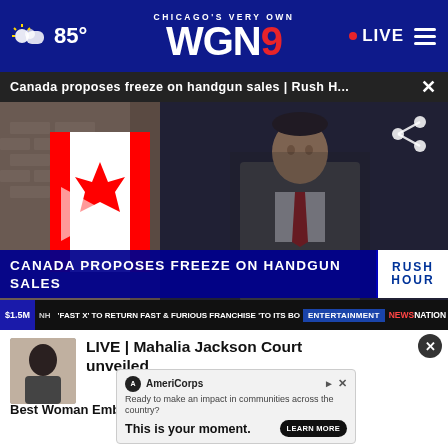Chicago's Very Own WGN9 — 85° — LIVE
Canada proposes freeze on handgun sales | Rush H... ×
[Figure (screenshot): Video thumbnail showing Canadian Prime Minister Justin Trudeau in a grey suit and red tie standing in front of a Canadian flag. Lower-third chyron reads 'CANADA PROPOSES FREEZE ON HANDGUN SALES' with Rush Hour badge. Lower ticker shows '$1.5M', 'FAST X TO RETURN FAST & FURIOUS FRANCHISE TO ITS BO', 'ENTERTAINMENT', 'NEWSNATION LIVE'.]
LIVE | Mahalia Jackson Court unveiled in Chatham
Best Woman Embezzled $2,751,11.om
[Figure (infographic): AmeriCorps advertisement banner: 'Ready to make an impact in communities across the country? This is your moment.' with Learn More button.]